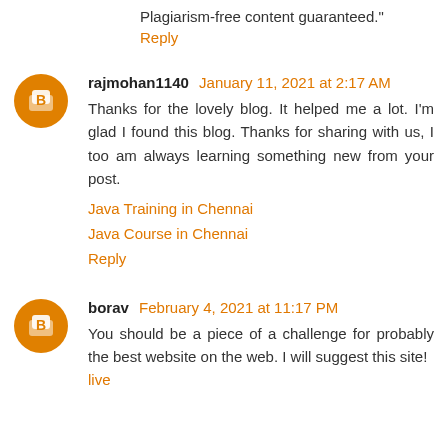Plagiarism-free content guaranteed."
Reply
rajmohan1140 January 11, 2021 at 2:17 AM
Thanks for the lovely blog. It helped me a lot. I'm glad I found this blog. Thanks for sharing with us, I too am always learning something new from your post.
Java Training in Chennai
Java Course in Chennai
Reply
borav February 4, 2021 at 11:17 PM
You should be a piece of a challenge for probably the best website on the web. I will suggest this site!
live